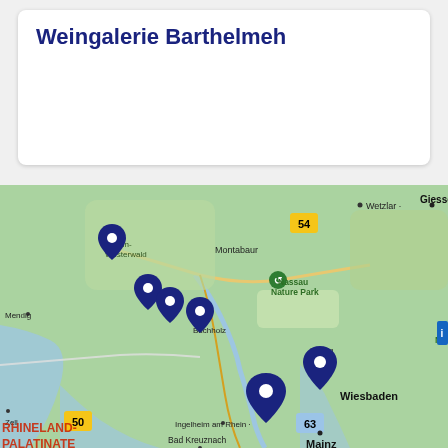Weingalerie Barthelmeh
[Figure (map): Geographic map showing the Rhineland-Palatinate region of Germany with dark blue location pin markers near Montabaur, Buchholz, Idstein, Wiesbaden area, and surrounding regions. Map shows cities including Wetzlar, Giessen, Grünberg, Bad Nauheim, Friedberg, Frankfurt, Mainz, Wiesbaden, Ingelheim am Rhein, Bad Kreuznach, Darmstadt, Aschaffenburg, Hanau, Mendig, and Zell. Shows Nassau Nature Park, Taunus Nature Park, High Vogelsberg Nature Park, and Rhein-Westerwald area. Road numbers 54, 50, 63 are visible.]